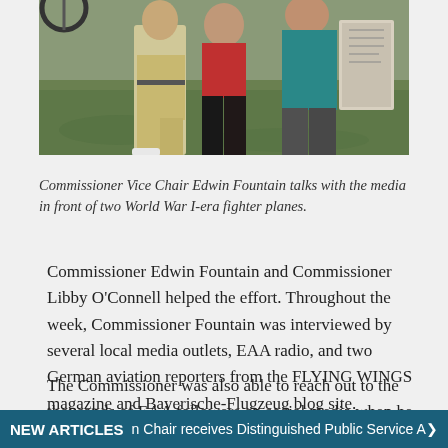[Figure (photo): Commissioner Vice Chair Edwin Fountain talking with media in front of two World War I-era fighter planes, standing on grass.]
Commissioner Vice Chair Edwin Fountain talks with the media in front of two World War I-era fighter planes.
Commissioner Edwin Fountain and Commissioner Libby O'Connell helped the effort. Throughout the week, Commissioner Fountain was interviewed by several local media outlets, EAA radio, and two German aviation reporters from the FLYING WINGS magazine and Bayerische-Flugzeug blog site.
The Commissioner was also able to reach out to the thousands of EAA followers on social media when he
NEW ARTICLES  n Chair receives Distinguished Public Service A